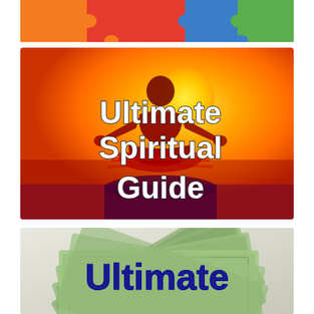[Figure (illustration): Colorful puzzle pieces banner in orange, red, blue, and green]
[Figure (illustration): Meditation silhouette against orange sunset background with text 'Ultimate Spiritual Guide' in white with dark outline]
[Figure (illustration): Fanned US dollar bills with text 'Ultimate' in bold dark blue]